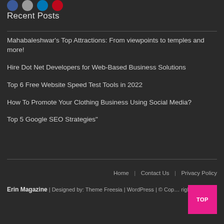[Figure (other): Social media icon circles (Facebook blue, gray, LinkedIn blue, Pinterest red)]
Recent Posts
Mahabaleshwar's Top Attractions: From viewpoints to temples and more!
Hire Dot Net Developers for Web-Based Business Solutions
Top 6 Free Website Speed Test Tools in 2022
How To Promote Your Clothing Business Using Social Media?
Top 5 Google SEO Strategies"
Home | Contact Us | Privacy Policy
Erin Magazine | Designed by: Theme Freesia | WordPress | © Cop… right reserved